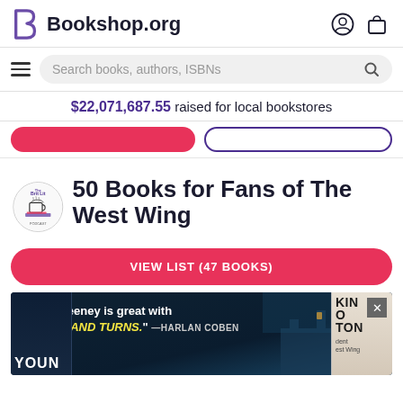Bookshop.org
Search books, authors, ISBNs
$22,071,687.55 raised for local bookstores
[Figure (logo): Brit Lit Podcast logo — circular illustration with a mug and books]
50 Books for Fans of The West Wing
VIEW LIST (47 BOOKS)
[Figure (screenshot): Advertisement banner: "Alice Feeney is great with TWISTS AND TURNS." — HARLAN COBEN, with a dark coastal scene background]
[Figure (photo): Bottom row showing partial book covers — left cover shows 'YOUN' in white text on dark background, right cover shows 'KIN O TON' with subtitle text about The West Wing]